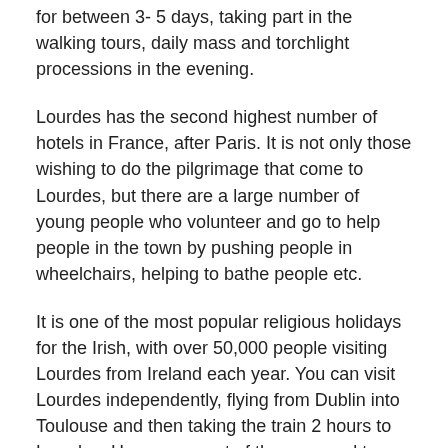for between 3- 5 days, taking part in the walking tours, daily mass and torchlight processions in the evening.
Lourdes has the second highest number of hotels in France, after Paris. It is not only those wishing to do the pilgrimage that come to Lourdes, but there are a large number of young people who volunteer and go to help people in the town by pushing people in wheelchairs, helping to bathe people etc.
It is one of the most popular religious holidays for the Irish, with over 50,000 people visiting Lourdes from Ireland each year. You can visit Lourdes independently, flying from Dublin into Toulouse and then taking the train 2 hours to Lourdes. However, most of the arranged tours will fly you directly into Lourdes airport and all your transfers, accommodation, guided tours are included.